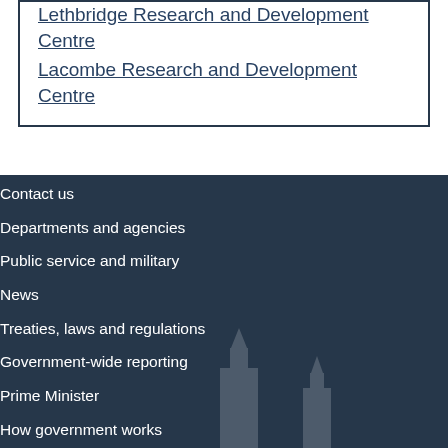Lethbridge Research and Development Centre
Lacombe Research and Development Centre
Contact us
Departments and agencies
Public service and military
News
Treaties, laws and regulations
Government-wide reporting
Prime Minister
How government works